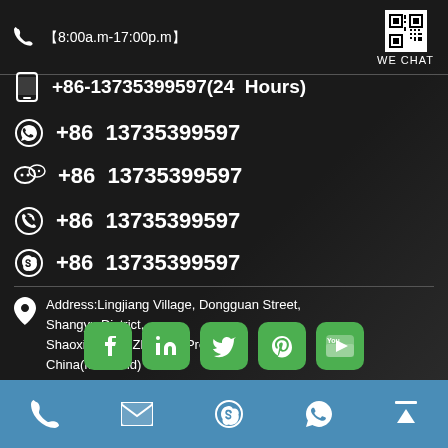📞 【8:00a.m-17:00p.m】   WE CHAT
+86-13735399597(24 Hours)
+86 13735399597 (WhatsApp)
+86 13735399597 (WeChat)
+86 13735399597 (Viber)
+86 13735399597 (Skype)
Address:Lingjiang Village, Dongguan Street, Shangyu District, Shaoxing City, Zhejiang Province, China(Mainland)
[Figure (infographic): Social media icons row: Facebook, LinkedIn, Twitter, Pinterest, YouTube (green rounded square buttons)]
[Figure (infographic): Footer bar with phone, email, Skype, WhatsApp, and scroll-to-top icons on blue background]